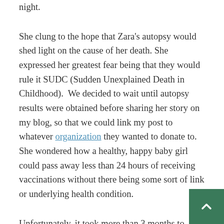night.
She clung to the hope that Zara's autopsy would shed light on the cause of her death. She expressed her greatest fear being that they would rule it SUDC (Sudden Unexplained Death in Childhood).  We decided to wait until autopsy results were obtained before sharing her story on my blog, so that we could link my post to whatever organization they wanted to donate to.  She wondered how a healthy, happy baby girl could pass away less than 24 hours of receiving vaccinations without there being some sort of link or underlying health condition.
Unfortunately, it took more than 3 months to receive Zara's autopsy results. They navigated their way through their first Christmas and holiday season without a